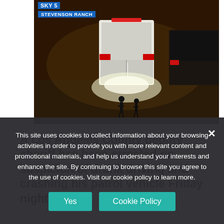[Figure (screenshot): Night-time aerial or helicopter news footage showing an ambulance with bright rear lights illuminated on a dark street. Two figures visible near the vehicle. SKY5 and STEVENSON RANCH chyrons visible in upper left.]
A Los Angeles County deputy sheriff has been arrested on suspicion of drunk driving and crashing his patrol vehicle Friday night in
This site uses cookies to collect information about your browsing activities in order to provide you with more relevant content and promotional materials, and help us understand your interests and enhance the site. By continuing to browse this site you agree to the use of cookies. Visit our cookie policy to learn more.
Yes
Cookie Policy